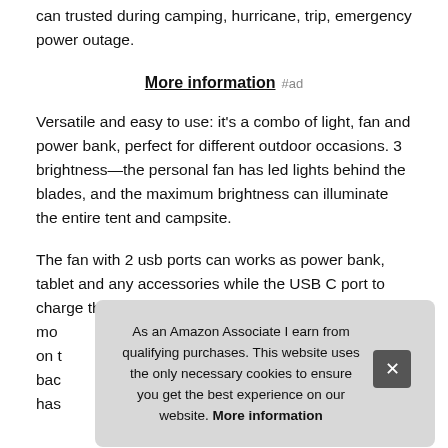can trusted during camping, hurricane, trip, emergency power outage.
More information #ad
Versatile and easy to use: it's a combo of light, fan and power bank, perfect for different outdoor occasions. 3 brightness—the personal fan has led lights behind the blades, and the maximum brightness can illuminate the entire tent and campsite.
The fan with 2 usb ports can works as power bank, tablet and any accessories while the USB C port to charge the fan itself. 3 sp... mo... on t... bac... has...
As an Amazon Associate I earn from qualifying purchases. This website uses the only necessary cookies to ensure you get the best experience on our website. More information